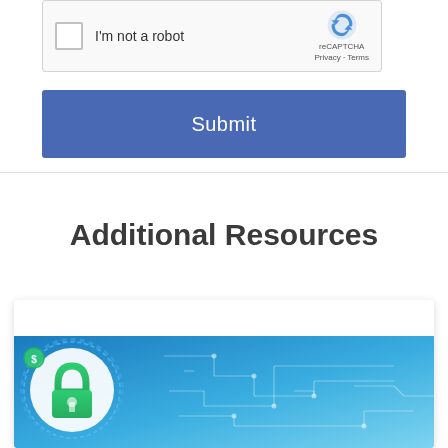[Figure (screenshot): reCAPTCHA widget showing checkbox 'I'm not a robot' with reCAPTCHA logo, Privacy and Terms links]
[Figure (screenshot): Blue Submit button]
Additional Resources
[Figure (illustration): Security-themed banner image with blue gradient background, circuit board lines, gear ring, white circle, and green padlock icon]